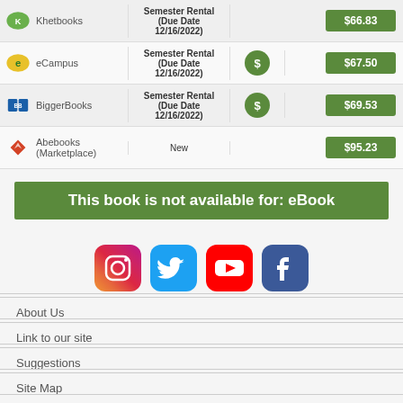| Store | Type | Cart | Price |
| --- | --- | --- | --- |
| Khetbooks | Semester Rental (Due Date 12/16/2022) |  | $66.83 |
| eCampus | Semester Rental (Due Date 12/16/2022) | $ | $67.50 |
| BiggerBooks | Semester Rental (Due Date 12/16/2022) | $ | $69.53 |
| Abebooks (Marketplace) | New |  | $95.23 |
This book is not available for: eBook
[Figure (infographic): Social media icons: Instagram, Twitter, YouTube, Facebook]
About Us
Link to our site
Suggestions
Site Map
Contact Us